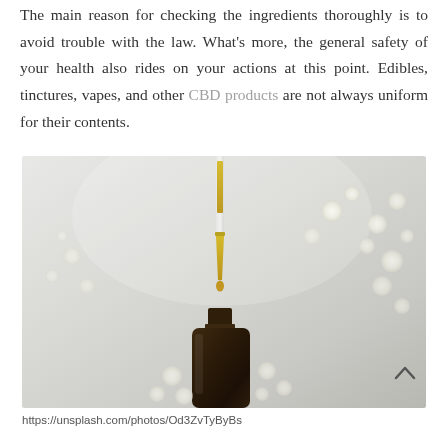The main reason for checking the ingredients thoroughly is to avoid trouble with the law. What's more, the general safety of your health also rides on your actions at this point. Edibles, tinctures, vapes, and other CBD products are not always uniform for their contents.
[Figure (photo): Photo of a glass dropper pipette with golden/yellow oil dropping into a small dark amber bottle, set against a soft grey-white background with blurred white flowers]
https://unsplash.com/photos/Od3ZvTyByBs